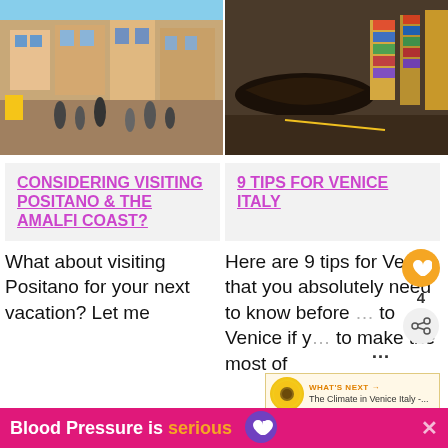[Figure (photo): Photo of Positano / Amalfi Coast street scene with colorful buildings and tourists]
[Figure (photo): Photo of Venice canal with gondola and bookstalls]
CONSIDERING VISITING POSITANO & THE AMALFI COAST?
9 TIPS FOR VENICE ITALY
What about visiting Positano for your next vacation? Let me ex... ab...
Here are 9 tips for Venice that you absolutely need to know before ... to Venice if y... to make the most of
WHAT'S NEXT → The Climate in Venice Italy -...
Blood Pressure is serious